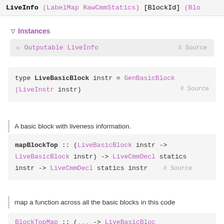LiveInfo (LabelMap RawCmmStatics) [BlockId] (Blo...
▽ Instances
▷ Outputable LiveInfo  # Source
type LiveBasicBlock instr = GenBasicBlock (LiveInstr instr)  # Source
A basic block with liveness information.
mapBlockTop :: (LiveBasicBlock instr -> LiveBasicBlock instr) -> LiveCmmDecl statics instr -> LiveCmmDecl statics instr  # Source
map a function across all the basic blocks in this code
BlockTopMap :: (LiveBasicBlock...